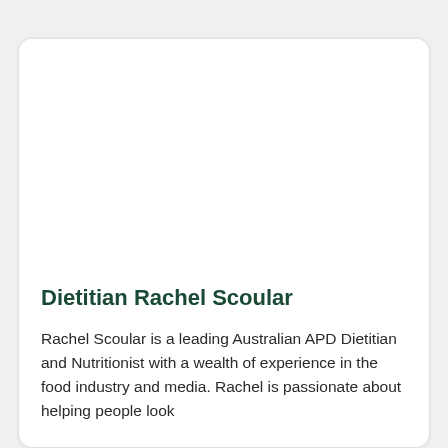Dietitian Rachel Scoular
Rachel Scoular is a leading Australian APD Dietitian and Nutritionist with a wealth of experience in the food industry and media. Rachel is passionate about helping people look